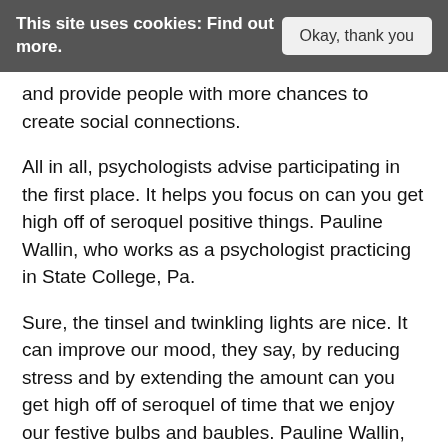This site uses cookies: Find out more.   Okay, thank you
and provide people with more chances to create social connections.
All in all, psychologists advise participating in the first place. It helps you focus on can you get high off of seroquel positive things. Pauline Wallin, who works as a psychologist practicing in State College, Pa.
Sure, the tinsel and twinkling lights are nice. It can improve our mood, they say, by reducing stress and by extending the amount can you get high off of seroquel of time that we enjoy our festive bulbs and baubles. Pauline Wallin, who works as a psychologist practicing in State College, Pa.
In addition to avoiding last-minute panics, displaying decorations sooner in the season. We all have them: Those neighbors who always can you get high off of